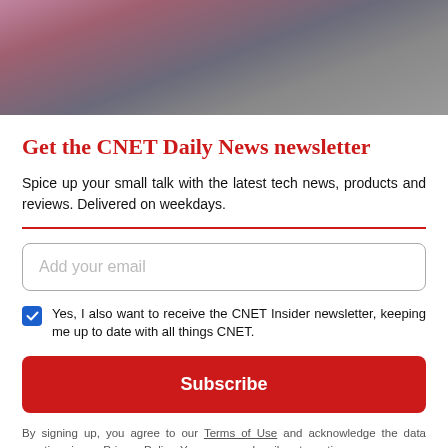[Figure (photo): Partial photo of a person at a podium or desk, cropped at top of page]
Get the CNET Daily News newsletter
Spice up your small talk with the latest tech news, products and reviews. Delivered on weekdays.
Add your email
Yes, I also want to receive the CNET Insider newsletter, keeping me up to date with all things CNET.
Subscribe
By signing up, you agree to our Terms of Use and acknowledge the data practices in our Privacy Policy. You may unsubscribe at any time.